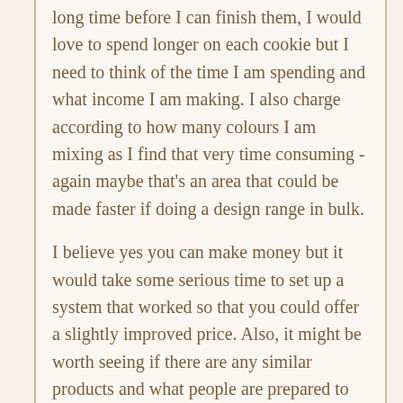long time before I can finish them, I would love to spend longer on each cookie but I need to think of the time I am spending and what income I am making. I also charge according to how many colours I am mixing as I find that very time consuming - again maybe that's an area that could be made faster if doing a design range in bulk.
I believe yes you can make money but it would take some serious time to set up a system that worked so that you could offer a slightly improved price. Also, it might be worth seeing if there are any similar products and what people are prepared to pay for them. A cookie costing 11-18 euros is a luxury item so it's a question of whether you can also sell them in large quantities as well as mass produce them, which is no doubt something that you have thought about lots. I know of a lady in Norway with a store and 2 extra staff members who sells her cookies at around